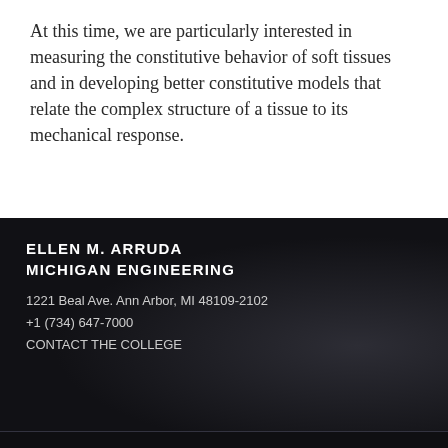At this time, we are particularly interested in measuring the constitutive behavior of soft tissues and in developing better constitutive models that relate the complex structure of a tissue to its mechanical response.
ELLEN M. ARRUDA
MICHIGAN ENGINEERING
1221 Beal Ave. Ann Arbor, MI 48109-2102
+1 (734) 647-7000
CONTACT THE COLLEGE
© 2022 THE REGENTS OF THE UNIVERSITY OF MICHIGAN | SAFETY INFORMATION | ACCEPTABLE USE |PRIVACY POLICY |U-M MAIN

LOGIN | LOGOUT